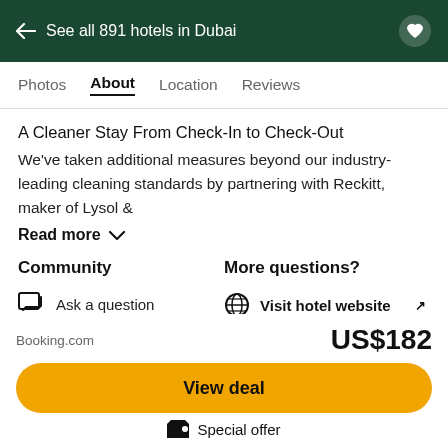← See all 891 hotels in Dubai
Photos  About  Location  Reviews
A Cleaner Stay From Check-In to Check-Out
We've taken additional measures beyond our industry-leading cleaning standards by partnering with Reckitt, maker of Lysol &
Read more
Community
Ask a question
Write a review
More questions?
Visit hotel website ↗
011 601-800-80-1818
Booking.com
US$182
View deal
Special offer